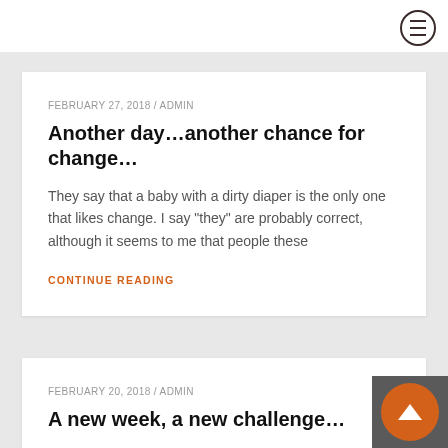FEBRUARY 27, 2018 / ADMIN
Another day…another chance for change…
They say that a baby with a dirty diaper is the only one that likes change. I say “they” are probably correct, although it seems to me that people these
CONTINUE READING
FEBRUARY 20, 2018 / ADMIN
A new week, a new challenge…